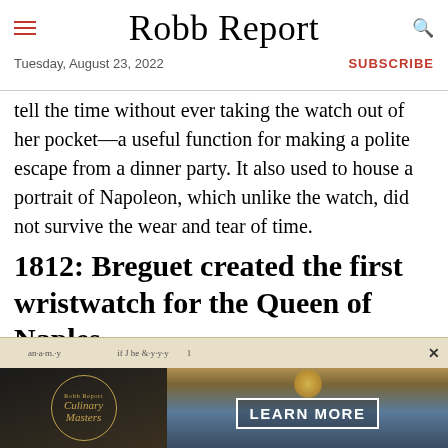Robb Report
Tuesday, August 23, 2022
SUBSCRIBE
tell the time without ever taking the watch out of her pocket—a useful function for making a polite escape from a dinner party. It also used to house a portrait of Napoleon, which unlike the watch, did not survive the wear and tear of time.
1812: Breguet created the first wristwatch for the Queen of Naples
[Figure (screenshot): Advertisement banner with Robb Report Culinary Masters logo on dark background on left, and outdoor dining/sunset scene with LEARN MORE button on right]
[Figure (other): Partial view of a handwritten document visible behind advertisement overlay]